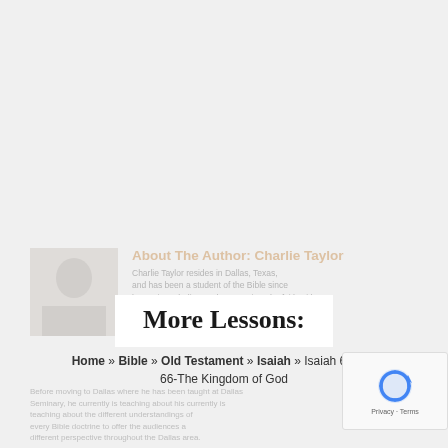About The Author: Charlie Taylor
Charlie Taylor resides in Dallas, Texas, and has been a student of the Bible since becoming a believer who came into the faith without prior religious training. For about twenty years Dallas to politics and small group Bible studies. Before moving to Dallas where he has been taught at Dallas Theological seminary, he currently is teaching about the different understandings of every Bible doctrine to offer the audiences a different perspective throughout the Dallas area.
More Lessons:
Home » Bible » Old Testament » Isaiah » Isaiah 65 and 66-The Kingdom of God